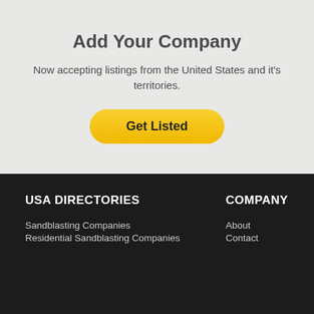Add Your Company
Now accepting listings from the United States and it's territories.
Get Listed
USA DIRECTORIES
COMPANY
Sandblasting Companies
About
Residential Sandblasting Companies
Contact